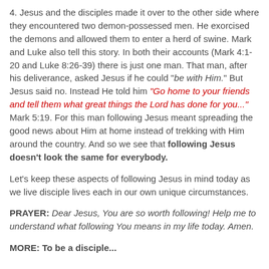4. Jesus and the disciples made it over to the other side where they encountered two demon-possessed men. He exorcised the demons and allowed them to enter a herd of swine. Mark and Luke also tell this story. In both their accounts (Mark 4:1-20 and Luke 8:26-39) there is just one man. That man, after his deliverance, asked Jesus if he could "be with Him." But Jesus said no. Instead He told him "Go home to your friends and tell them what great things the Lord has done for you..." Mark 5:19. For this man following Jesus meant spreading the good news about Him at home instead of trekking with Him around the country. And so we see that following Jesus doesn't look the same for everybody.
Let's keep these aspects of following Jesus in mind today as we live disciple lives each in our own unique circumstances.
PRAYER: Dear Jesus, You are so worth following! Help me to understand what following You means in my life today. Amen.
MORE: To be a disciple...